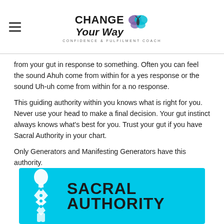Change Your Way — Confidence & Fulfilment Coach
from your gut in response to something. Often you can feel the sound Ahuh come from within for a yes response or the sound Uh-uh come from within for a no response.
This guiding authority within you knows what is right for you. Never use your head to make a final decision. Your gut instinct always knows what's best for you. Trust your gut if you have Sacral Authority in your chart.
Only Generators and Manifesting Generators have this authority.
[Figure (infographic): Cyan/teal background infographic showing a white human body diagram on the left with energy centers marked, and large bold text reading 'SACRAL AUTHORITY' on the right.]